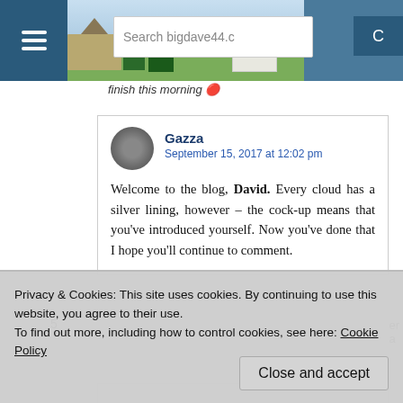[Figure (screenshot): Top navigation bar with hamburger menu icon, landscape/countryside photo, and search box reading 'Search bigdave44.c']
finish this morning 🔴
Gazza
September 15, 2017 at 12:02 pm
Welcome to the blog, David. Every cloud has a silver lining, however – the cock-up means that you've introduced yourself. Now you've done that I hope you'll continue to comment.
Privacy & Cookies: This site uses cookies. By continuing to use this website, you agree to their use.
To find out more, including how to control cookies, see here: Cookie Policy
Close and accept